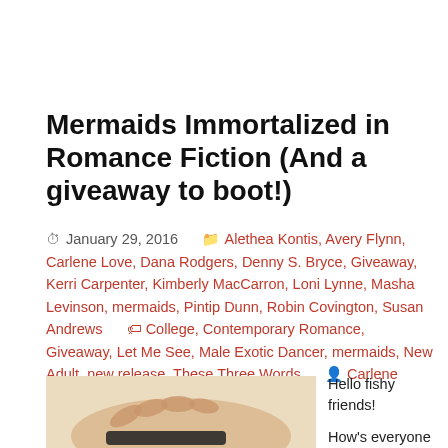Mermaids Immortalized in Romance Fiction (And a giveaway to boot!)
January 29, 2016  Alethea Kontis, Avery Flynn, Carlene Love, Dana Rodgers, Denny S. Bryce, Giveaway, Kerri Carpenter, Kimberly MacCarron, Loni Lynne, Masha Levinson, mermaids, Pintip Dunn, Robin Covington, Susan Andrews  College, Contemporary Romance, Giveaway, Let Me See, Male Exotic Dancer, mermaids, New Adult, new release, These Three Words  Carlene
[Figure (photo): A hand with a wristband shown against a light beige/skin-toned background, partially visible at the bottom left of the page.]
Hello fishy friends!

How's everyone doing? I hope your 2016 is off to a great start. I'm